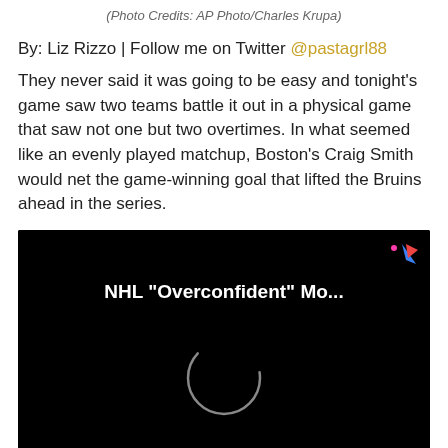(Photo Credits: AP Photo/Charles Krupa)
By: Liz Rizzo | Follow me on Twitter @pastagrl88
They never said it was going to be easy and tonight's game saw two teams battle it out in a physical game that saw not one but two overtimes. In what seemed like an evenly played matchup, Boston's Craig Smith would net the game-winning goal that lifted the Bruins ahead in the series.
[Figure (screenshot): Video player loading screen with black background showing title 'NHL "Overconfident" Mo...' in white bold text, a loading spinner circle in the center, and a colorful logo in the top right corner.]